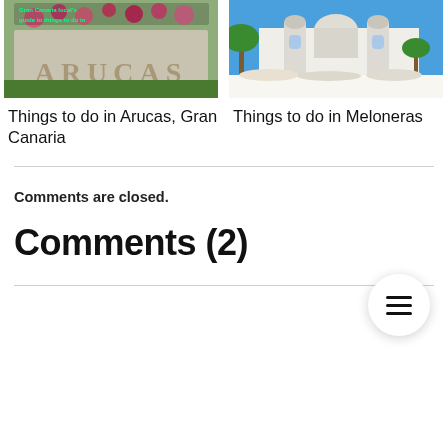[Figure (photo): Photo of Arucas stone sign with pink flowers and green text overlay reading 'Gran Canaria local's guide to things to do in']
Things to do in Arucas, Gran Canaria
[Figure (photo): Photo of Meloneras with palm trees, a church with twin towers and blue dome, white umbrellas in the foreground]
Things to do in Meloneras
Comments are closed.
Comments (2)